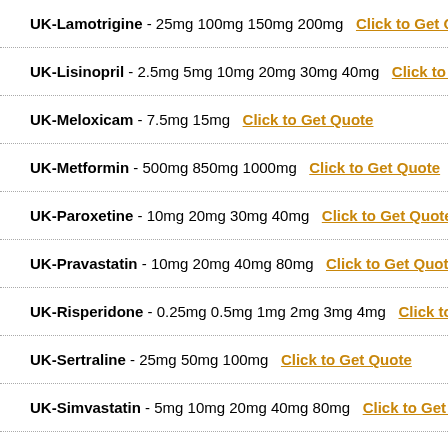UK-Lamotrigine - 25mg 100mg 150mg 200mg  Click to Get Quote
UK-Lisinopril - 2.5mg 5mg 10mg 20mg 30mg 40mg  Click to Get Qu
UK-Meloxicam - 7.5mg 15mg  Click to Get Quote
UK-Metformin - 500mg 850mg 1000mg  Click to Get Quote
UK-Paroxetine - 10mg 20mg 30mg 40mg  Click to Get Quote
UK-Pravastatin - 10mg 20mg 40mg 80mg  Click to Get Quote
UK-Risperidone - 0.25mg 0.5mg 1mg 2mg 3mg 4mg  Click to Get Q
UK-Sertraline - 25mg 50mg 100mg  Click to Get Quote
UK-Simvastatin - 5mg 10mg 20mg 40mg 80mg  Click to Get Quote